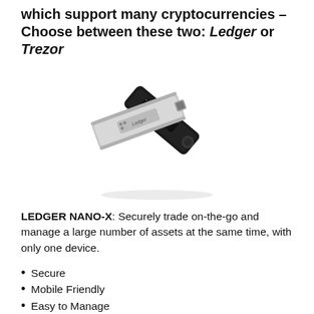which support many cryptocurrencies – Choose between these two: Ledger or Trezor
[Figure (photo): Photo of two Ledger Nano X hardware cryptocurrency wallets — one black (showing the Bitcoin screen) and one silver — arranged overlapping at an angle.]
LEDGER NANO-X: Securely trade on-the-go and manage a large number of assets at the same time, with only one device.
Secure
Mobile Friendly
Easy to Manage
Supported Coins: 1200+